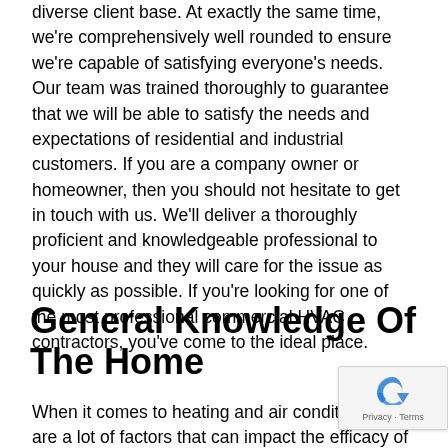diverse client base. At exactly the same time, we're comprehensively well rounded to ensure we're capable of satisfying everyone's needs. Our team was trained thoroughly to guarantee that we will be able to satisfy the needs and expectations of residential and industrial customers. If you are a company owner or homeowner, then you should not hesitate to get in touch with us. We'll deliver a thoroughly proficient and knowledgeable professional to your house and they will care for the issue as quickly as possible. If you're looking for one of the most professional commercial HVAC contractors, you've come to the ideal place.
General Knowledge Of The Home
When it comes to heating and air conditioning the are a lot of factors that can impact the efficacy of system. ll Sure, if the ducts are leaking and broker